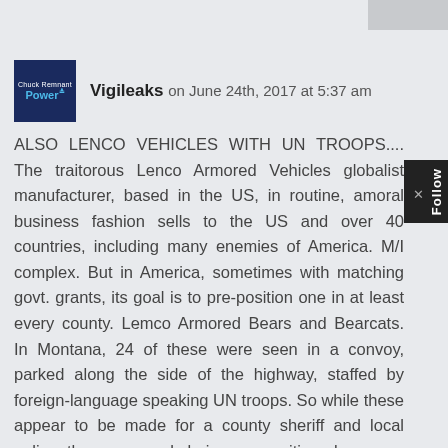Vigileaks on June 24th, 2017 at 5:37 am
ALSO LENCO VEHICLES WITH UN TROOPS.... The traitorous Lenco Armored Vehicles globalist manufacturer, based in the US, in routine, amoral business fashion sells to the US and over 40 countries, including many enemies of America. M/I complex. But in America, sometimes with matching govt. grants, its goal is to pre-position one in at least every county. Lemco Armored Bears and Bearcats. In Montana, 24 of these were seen in a convoy, parked along the side of the highway, staffed by foreign-language speaking UN troops. So while these appear to be made for a county sheriff and local police, they are merely being pre-positioned – as are Makarov pistols and drug-sniffing dogs, trained in Yugoslavia and Holland, taught 60 commands but only 30 are